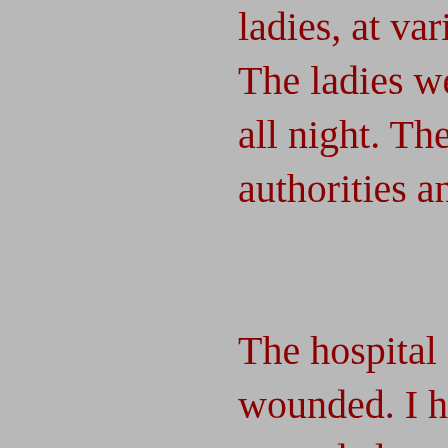ladies, at various places. The ladies were ready all night. The next morning authorities and in a few The hospital committee wounded. I have heard wounded, as the careful them for the suffering war, by one of the fashionable streets of ladies who composed which she attended, the desperately wounded, showed his obligation